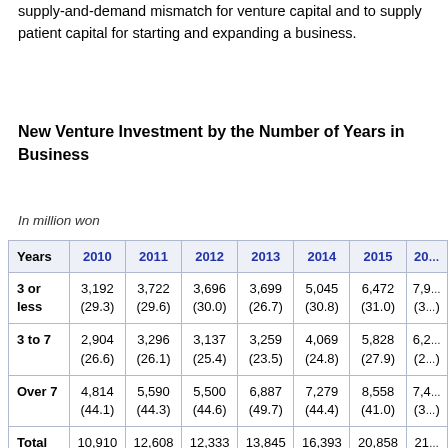supply-and-demand mismatch for venture capital and to supply patient capital for starting and expanding a business.
New Venture Investment by the Number of Years in Business
In million won
| Years | 2010 | 2011 | 2012 | 2013 | 2014 | 2015 | 20… |
| --- | --- | --- | --- | --- | --- | --- | --- |
| 3 or less | 3,192
(29.3) | 3,722
(29.6) | 3,696
(30.0) | 3,699
(26.7) | 5,045
(30.8) | 6,472
(31.0) | 7,9…
(3… |
| 3 to 7 | 2,904
(26.6) | 3,296
(26.1) | 3,137
(25.4) | 3,259
(23.5) | 4,069
(24.8) | 5,828
(27.9) | 6,2…
(2… |
| Over 7 | 4,814
(44.1) | 5,590
(44.3) | 5,500
(44.6) | 6,887
(49.7) | 7,279
(44.4) | 8,558
(41.0) | 7,4…
(3… |
| Total | 10,910 | 12,608 | 12,333 | 13,845 | 16,393 | 20,858 | 21… |